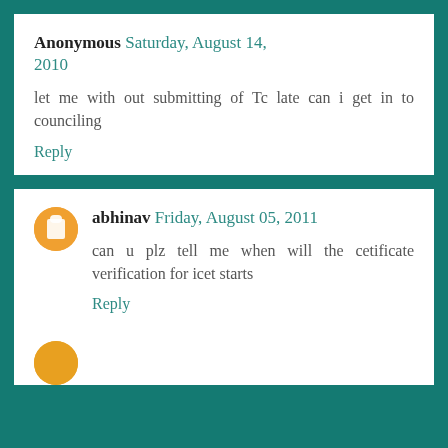Anonymous Saturday, August 14, 2010
let me with out submitting of Tc late can i get in to counciling
Reply
abhinav Friday, August 05, 2011
can u plz tell me when will the cetificate verification for icet starts
Reply